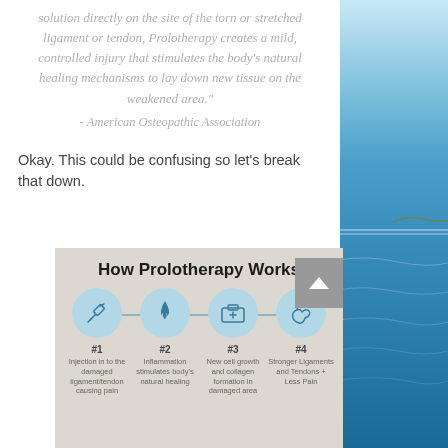solution directly on the site of the torn or stretched ligament or tendon, Prolotherapy creates a mild, controlled injury that stimulates the body's natural healing mechanisms to lay down new tissue on the weakened area."
- American Osteopathic Association
Okay. This could be confusing so let's break that down.
[Figure (infographic): How Prolotherapy Works infographic showing 4 steps connected by a line: #1 Injection in to the damaged ligament/tendon causing pain (syringe icon), #2 Inflammation stimulates body's natural healing (flame icon), #3 New cell growth and collagen formation in damaged area (medical kit icon), #4 Stronger Ligaments and Tendons + Less Pain (muscle/arm icon). Steps shown in light blue circles on a beige/tan background.]